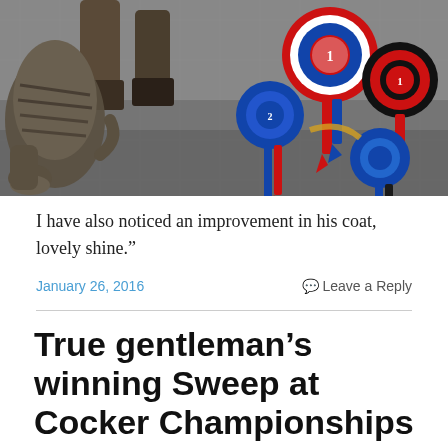[Figure (photo): Photo showing a tabby cat on the left and several competition rosettes (blue, red/white/blue, and black/red) laid on a stone surface, with human legs/boots visible in the background.]
I have also noticed an improvement in his coat, lovely shine.”
January 26, 2016
Leave a Reply
True gentleman’s winning Sweep at Cocker Championships